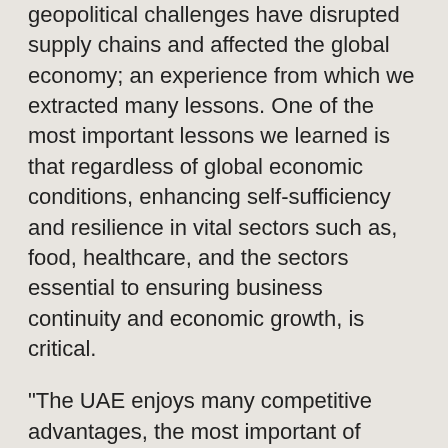geopolitical challenges have disrupted supply chains and affected the global economy; an experience from which we extracted many lessons. One of the most important lessons we learned is that regardless of global economic conditions, enhancing self-sufficiency and resilience in vital sectors such as, food, healthcare, and the sectors essential to ensuring business continuity and economic growth, is critical.
"The UAE enjoys many competitive advantages, the most important of which is the wisdom and support of leadership that is always looking to the future with a positive outlook, providing and focusing on ensuring stability, and has given directives for a flexible and encouraging environment to achieve our objectives."
"We also enjoy highly skilled human resources, energy resources, raw materials, a strategic geographic location, advanced infrastructure, strong world...